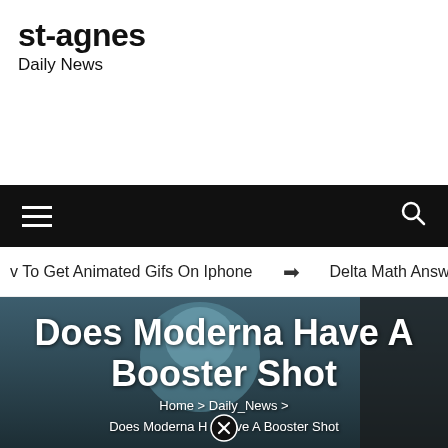st-agnes
Daily News
[Figure (screenshot): Close/X button circle icon at top center]
Navigation bar with hamburger menu and search icon
v To Get Animated Gifs On Iphone  ➡  Delta Math Answe
[Figure (photo): Healthcare worker in blue PPE (cap, face shield, gloves) working in a lab/medical setting]
Does Moderna Have A Booster Shot
Home > Daily_News > Does Moderna Have A Booster Shot